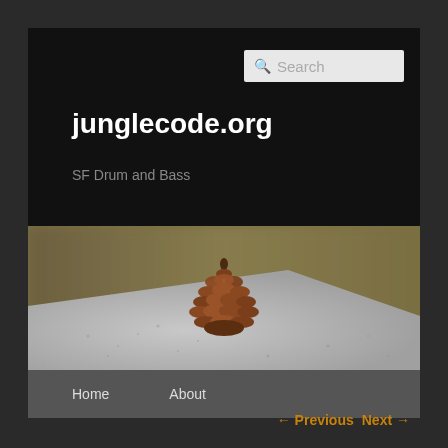junglecode.org
SF Drum and Bass
[Figure (photo): A pine cone resting on a granite stone surface with a blurred olive/brown background]
Home
About
← Previous  Next →